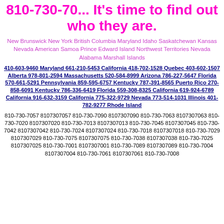810-730-70... It's time to find out who they are.
New Brunswick New York British Columbia Maryland Idaho Saskatchewan Kansas Nevada American Samoa Prince Edward Island Northwest Territories Nevada Alabama Marshall Islands
410-603-9460 Maryland 661-210-5453 California 418-702-1528 Quebec 403-602-1507 Alberta 978-801-2594 Massachusetts 520-584-8999 Arizona 786-227-5647 Florida 570-661-5291 Pennsylvania 859-595-6757 Kentucky 787-391-8565 Puerto Rico 270-858-6091 Kentucky 786-336-6419 Florida 559-308-8325 California 619-924-6789 California 916-632-3159 California 775-322-9729 Nevada 773-514-1031 Illinois 401-782-9277 Rhode Island
810-730-7057 8107307057 810-730-7090 8107307090 810-730-7063 8107307063 810-730-7020 8107307020 810-730-7013 8107307013 810-730-7045 8107307045 810-730-7042 8107307042 810-730-7024 8107307024 810-730-7018 8107307018 810-730-7029 8107307029 810-730-7075 8107307075 810-730-7038 8107307038 810-730-7025 8107307025 810-730-7001 8107307001 810-730-7089 8107307089 810-730-7004 8107307004 810-730-7061 8107307061 810-730-7008